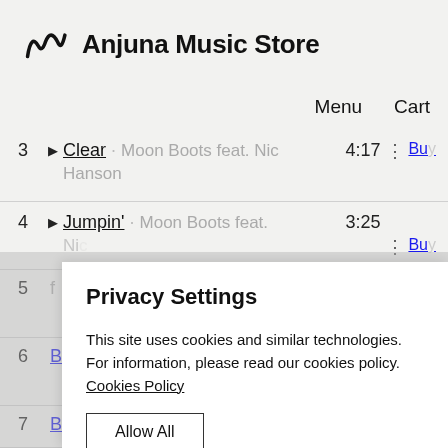Anjuna Music Store
Menu  Cart
3 ▶ Clear · Moon Boots feat. Nic Hanson  4:17  Buy
4 ▶ Jumpin' · Moon Boots feat.  3:25  Buy
5  f  Buy
6  1  Buy
7  0  Buy
Privacy Settings
This site uses cookies and similar technologies. For information, please read our cookies policy.
Cookies Policy
Allow All
Manage Consent Preferences